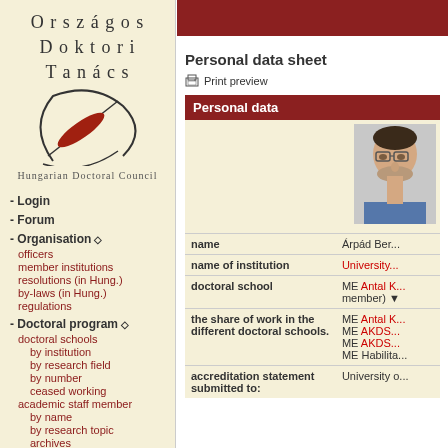[Figure (logo): Országos Doktori Tanács logo with stylized pen/feather and text 'Hungarian Doctoral Council']
- Login
- Forum
- Organisation ◇
officers
member institutions
resolutions (in Hung.)
by-laws (in Hung.)
regulations
- Doctoral program ◇
doctoral schools
by institution
by research field
by number
ceased working
academic staff member
by name
by research topic
archives
thesis topic proposals
by doctoral school
by research field
by research topic
supervision of PhD students
Personal data sheet
🖨 Print preview
|  |  |
| --- | --- |
| Personal data |  |
|  | [photo] |
| name | Árpád Ber... |
| name of institution | University... |
| doctoral school | ME Antal K... (member) ... |
| the share of work in the different doctoral schools. | ME Antal K... ME AKDS... ME AKDS... ME Habilita... |
| accreditation statement submitted to: | University o... |